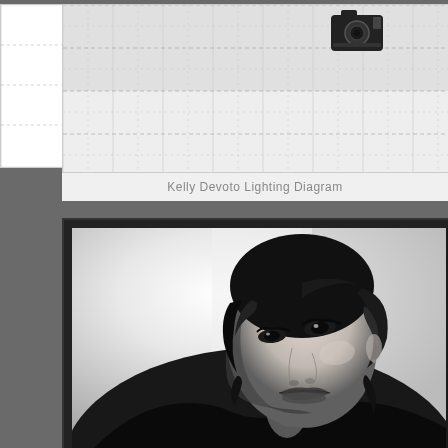[Figure (schematic): Kelly Devoto Lighting Diagram — a grid-based photography lighting setup diagram showing a camera icon positioned in the upper right area of the grid. Grid has dashed lines forming a matrix pattern over a light gray background, with a white left strip.]
Kelly Devoto Lighting Diagram
[Figure (photo): Black and white portrait photograph of a woman (Kelly Devoto) with dark wavy hair, looking upward. Dramatic lighting with high contrast. The photo is displayed in a dark frame/mount.]